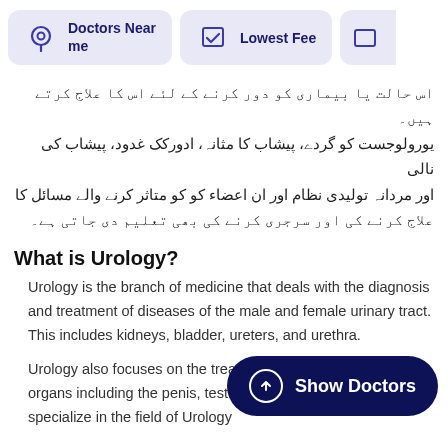Doctors Near me | Lowest Fee
اس حالت یا بیماری کو دور کرنے کے لئے اس کا علاج کرتے ہیں۔ یورولوجست کو گردے، پیشاب کا مثانہ، ادورکک غدود، پیشاب کی نالی اور مردانہ تولیدی نظام اور ان اعضاء کو کو متاثر کرنے والے مسائل کا علاج کرنے کی اور سرجری کرنے کی بھی تعلیم دی جاتی ہے۔
What is Urology?
Urology is the branch of medicine that deals with the diagnosis and treatment of diseases of the male and female urinary tract. This includes kidneys, bladder, ureters, and urethra.
Urology also focuses on the treatment of male reproductive organs including the penis, testes, scrotum, etc. Doctors who specialize in the field of Urology